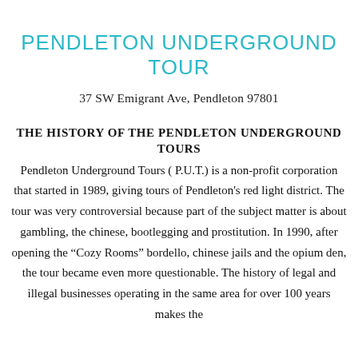PENDLETON UNDERGROUND TOUR
37 SW Emigrant Ave, Pendleton 97801
THE HISTORY OF THE PENDLETON UNDERGROUND TOURS
Pendleton Underground Tours ( P.U.T.) is a non-profit corporation that started in 1989, giving tours of Pendleton's red light district. The tour was very controversial because part of the subject matter is about gambling, the chinese, bootlegging and prostitution. In 1990, after opening the “Cozy Rooms” bordello, chinese jails and the opium den, the tour became even more questionable. The history of legal and illegal businesses operating in the same area for over 100 years makes the